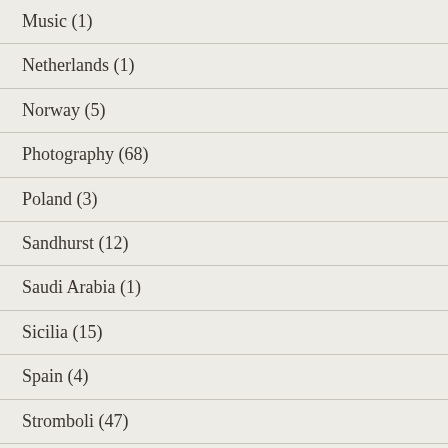Music (1)
Netherlands (1)
Norway (5)
Photography (68)
Poland (3)
Sandhurst (12)
Saudi Arabia (1)
Sicilia (15)
Spain (4)
Stromboli (47)
Switzerland (2)
UK (28)
Uncategorized (3)